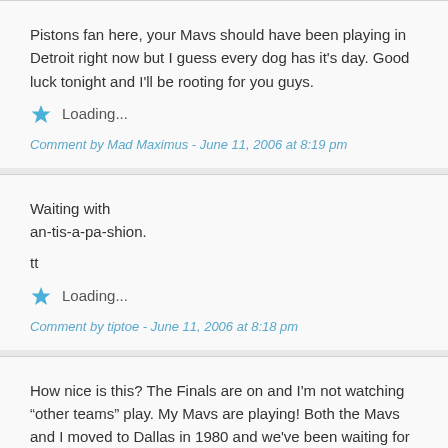Pistons fan here, your Mavs should have been playing in Detroit right now but I guess every dog has it's day. Good luck tonight and I'll be rooting for you guys.
Loading...
Comment by Mad Maximus - June 11, 2006 at 8:19 pm
Waiting with an-tis-a-pa-shion.

tt
Loading...
Comment by tiptoe - June 11, 2006 at 8:18 pm
How nice is this? The Finals are on and I'm not watching “other teams” play. My Mavs are playing! Both the Mavs and I moved to Dallas in 1980 and we've been waiting for this for 26 years, thanks for bringing a winning attitude to a team that really needed it.